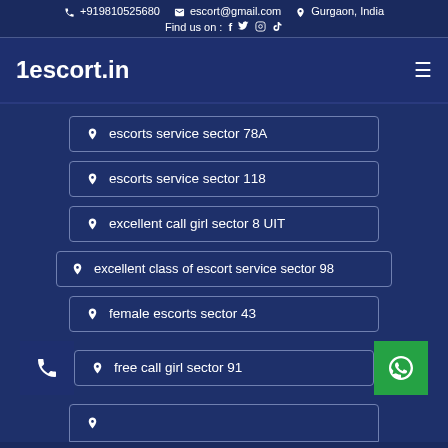+919810525680  escort@gmail.com  Gurgaon, India  Find us on: f tw ig yt
1escort.in
escorts service sector 78A
escorts service sector 118
excellent call girl sector 8 UIT
excellent class of escort service sector 98
female escorts sector 43
free call girl sector 91